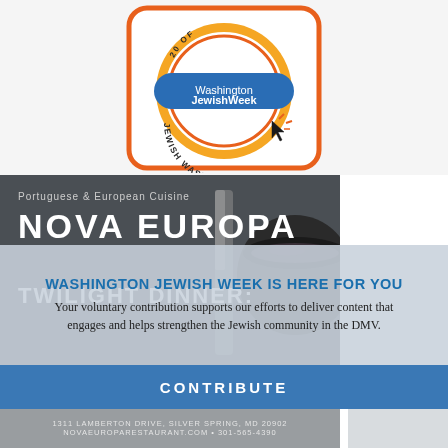[Figure (logo): Washington Jewish Week badge/seal with orange border, orange circular background, and 'Washington Jewish Week' text with 'JEWISH WASHINGTON' curved text below and a cursor icon]
[Figure (photo): Nova Europa restaurant advertisement: dark background with coffee cup photo, text reads 'Portuguese & European Cuisine', 'NOVA EUROPA', 'TWILIGHT DINNER:']
WASHINGTON JEWISH WEEK IS HERE FOR YOU
Your voluntary contribution supports our efforts to deliver content that engages and helps strengthen the Jewish community in the DMV.
CONTRIBUTE
1311 LAMBERTON DRIVE, SILVER SPRING, MD 20902
NOVAEUROPARESTAURANT.COM • 301-565-4390